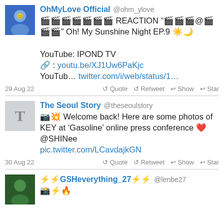OhMyLove Official @ohm_ylove — 🎬🎬🎬🎬🎬🎬🎬 REACTION "🎬🎬🎬@🎬🎬🎬" Oh! My Sunshine Night EP.9 ☀️🌙 YouTube: IPOND TV 🔗 : youtu.be/XJ1Uw6PaKjc YouTub… twitter.com/i/web/status/1…
29 Aug 22 — Quote Retweet Show Star
The Seoul Story @theseoulstory — 📸💥 Welcome back! Here are some photos of KEY at 'Gasoline' online press conference ❤️ @SHINee pic.twitter.com/LCavdajkGN
30 Aug 22 — Quote Retweet Show Star
⚡⚡GSHeverything_27⚡⚡ @lenbe27